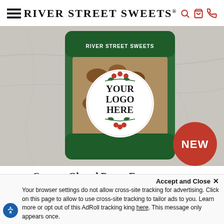RIVER STREET SWEETS®
[Figure (photo): A bag of River Street Sweets glazed pecans with a green top seal and a white circular sticker reading 'YOUR LOGO HERE' with holiday holly decoration. A red 'NEW' badge appears in the bottom right corner of the image.]
Custom Glazed Pecan Favors (48ct min)
- Only $7.25 Each! -
$348.00
Accept and Close ×
Your browser settings do not allow cross-site tracking for advertising. Click on this page to allow to use cross-site tracking to tailor ads to you. Learn more or opt out of this AdRoll tracking king here. This message only appears once.